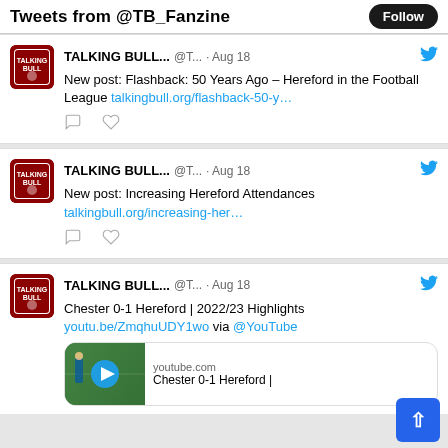Tweets from @TB_Fanzine  Follow
TALKING BULL... @T... · Aug 18
New post: Flashback: 50 Years Ago – Hereford in the Football League talkingbull.org/flashback-50-y…
TALKING BULL... @T... · Aug 18
New post: Increasing Hereford Attendances talkingbull.org/increasing-her…
TALKING BULL... @T... · Aug 18
Chester 0-1 Hereford | 2022/23 Highlights youtu.be/ZmqhuUDY1wo via @YouTube
[Figure (screenshot): YouTube preview card showing Chester 0-1 Hereford video thumbnail with play button, youtube.com domain label, and title 'Chester 0-1 Hereford |']